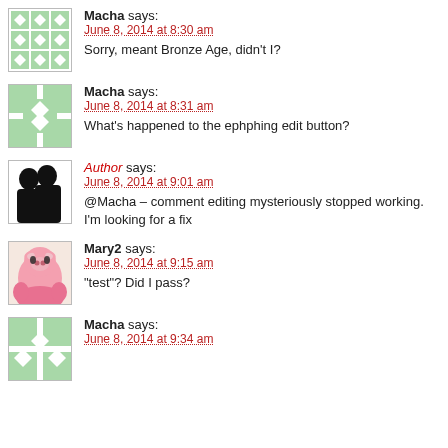Macha says:
June 8, 2014 at 8:30 am
Sorry, meant Bronze Age, didn't I?
Macha says:
June 8, 2014 at 8:31 am
What's happened to the ephphing edit button?
Author says:
June 8, 2014 at 9:01 am
@Macha – comment editing mysteriously stopped working. I'm looking for a fix
Mary2 says:
June 8, 2014 at 9:15 am
"test"? Did I pass?
Macha says:
June 8, 2014 at 9:34 am